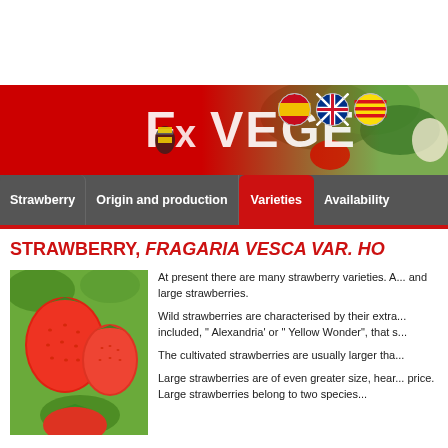[Figure (illustration): Website banner with red gradient background and vegetable background image. Shows 'F x VEGE' logo text in white with three flag circle icons (Spanish, UK, Catalan).]
Strawberry | Origin and production | Varieties | Availability
STRAWBERRY, FRAGARIA VESCA VAR. HO...
[Figure (photo): Close-up photo of red strawberries on a plant with green leaves]
At present there are many strawberry varieties. A... and large strawberries.
Wild strawberries are characterised by their extra... included, " Alexandria' or " Yellow Wonder", that s...
The cultivated strawberries are usually larger tha...
Large strawberries are of even greater size, hear... price. Large strawberries belong to two species...